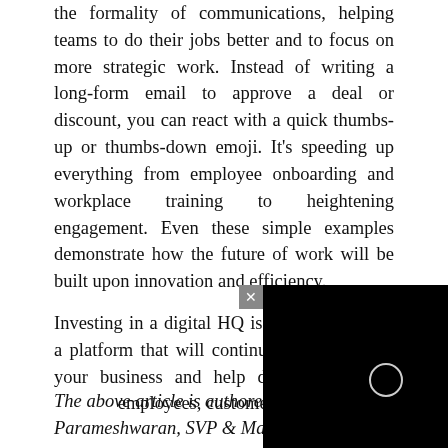the formality of communications, helping teams to do their jobs better and to focus on more strategic work. Instead of writing a long-form email to approve a deal or discount, you can react with a quick thumbs-up or thumbs-down emoji. It's speeding up everything from employee onboarding and workplace training to heightening engagement. Even these simple examples demonstrate how the future of work will be built upon innovation and efficiency.
Investing in a digital HQ is an investment in a platform that will continue to evolve with your business and help deliver long-term value to employees, customers, and partners.
The above article is authored by Arun Parameshwaran, SVP & Managing Di... Salesforce India.
[Figure (other): Black overlay/video box partially obscuring text, with a circular loading or UI element in the center and a close (x) button in the top-left corner of the box.]